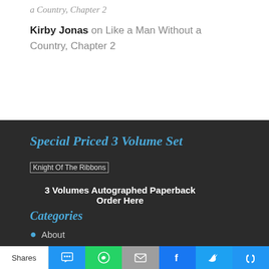a Country, Chapter 2
Kirby Jonas on Like a Man Without a Country, Chapter 2
Special Priced 3 Volume Set
[Figure (illustration): Knight Of The Ribbons book cover image placeholder]
3 Volumes Autographed Paperback
Order Here
Categories
About
Shares | SMS | WhatsApp | Email | Facebook | Twitter | Other